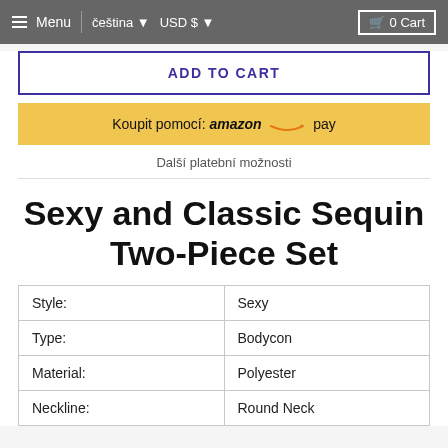Menu | čeština ▼  USD $ ▼  🛒 0 Cart
ADD TO CART
Koupit pomocí: amazon pay
Další platební možnosti
Sexy and Classic Sequin Two-Piece Set
| Attribute | Value |
| --- | --- |
| Style: | Sexy |
| Type: | Bodycon |
| Material: | Polyester |
| Neckline: | Round Neck |